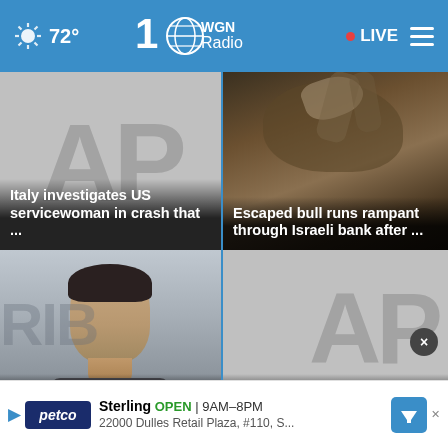72° WGN Radio 100 LIVE
[Figure (screenshot): AP news placeholder card with large 'AP' text. Headline: Italy investigates US servicewoman in crash that ...]
[Figure (photo): Bull photo card. Headline: Escaped bull runs rampant through Israeli bank after ...]
[Figure (photo): Man portrait photo card. Headline (partial): Adidas CEO to]
[Figure (screenshot): AP news placeholder card with large 'AP' text. Headline (partial): Simon Already]
[Figure (screenshot): Advertisement banner: Petco Sterling OPEN 9AM-8PM 22000 Dulles Retail Plaza, #110, S...]